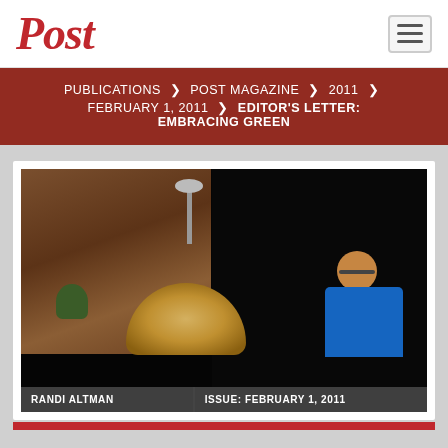Post
PUBLICATIONS > POST MAGAZINE > 2011 > FEBRUARY 1, 2011 > EDITOR'S LETTER: EMBRACING GREEN
[Figure (photo): Indoor photo of Randi Altman with blond hair in foreground and an older man in a blue shirt in background, dark studio/conference room setting with wooden panels and a lamp.]
RANDI ALTMAN | ISSUE: FEBRUARY 1, 2011